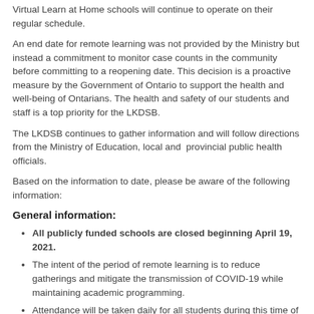Virtual Learn at Home schools will continue to operate on their regular schedule.
An end date for remote learning was not provided by the Ministry but instead a commitment to monitor case counts in the community before committing to a reopening date. This decision is a proactive measure by the Government of Ontario to support the health and well-being of Ontarians. The health and safety of our students and staff is a top priority for the LKDSB.
The LKDSB continues to gather information and will follow directions from the Ministry of Education, local and  provincial public health officials.
Based on the information to date, please be aware of the following information:
General information:
All publicly funded schools are closed beginning April 19, 2021.
The intent of the period of remote learning is to reduce gatherings and mitigate the transmission of COVID-19 while maintaining academic programming.
Attendance will be taken daily for all students during this time of remote learning.
The LKDSB will continue to take direction from the Ministry of Education and local and provincial Medical Officers of Health.